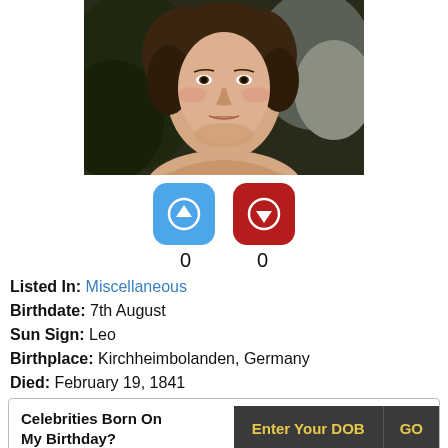[Figure (photo): Portrait painting of a woman with curly dark hair, appearing to be a classical oil painting style, cropped to show face and upper shoulders against a dark background.]
[Figure (infographic): Two rounded square buttons side by side: blue button with white upward arrow icon, and red/dark-red button with white downward arrow icon. Below each button is the number 0.]
Listed In: Miscellaneous
Birthdate: 7th August
Sun Sign: Leo
Birthplace: Kirchheimbolanden, Germany
Died: February 19, 1841
Celebrities Born On My Birthday? | Enter Your DOB | GO